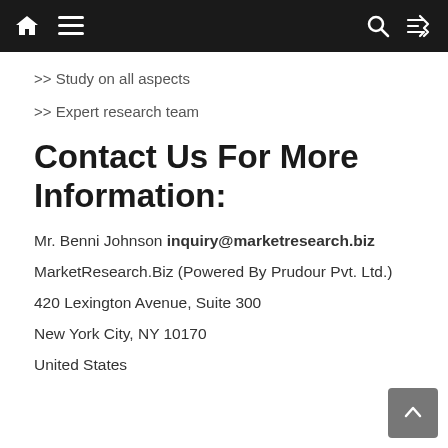>> Study on all aspects
>> Expert research team
Contact Us For More Information:
Mr. Benni Johnson inquiry@marketresearch.biz
MarketResearch.Biz (Powered By Prudour Pvt. Ltd.)
420 Lexington Avenue, Suite 300
New York City, NY 10170
United States